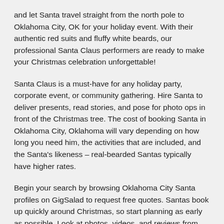and let Santa travel straight from the north pole to Oklahoma City, OK for your holiday event. With their authentic red suits and fluffy white beards, our professional Santa Claus performers are ready to make your Christmas celebration unforgettable!
Santa Claus is a must-have for any holiday party, corporate event, or community gathering. Hire Santa to deliver presents, read stories, and pose for photo ops in front of the Christmas tree. The cost of booking Santa in Oklahoma City, Oklahoma will vary depending on how long you need him, the activities that are included, and the Santa's likeness – real-bearded Santas typically have higher rates.
Begin your search by browsing Oklahoma City Santa profiles on GigSalad to request free quotes. Santas book up quickly around Christmas, so start planning as early as possible. Look at photos, videos, and reviews from past clients to choose the perfect Santa for your event. When talking with Santa, discuss important details like arrival times, setup requirements, preferred activities, and any